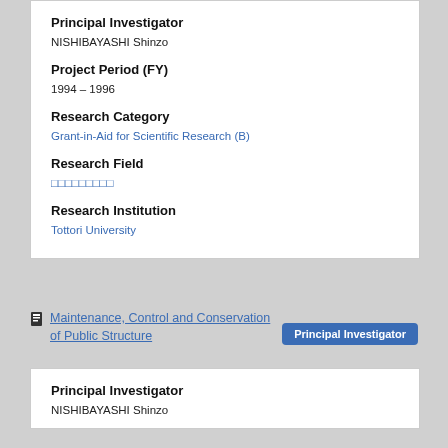Principal Investigator
NISHIBAYASHI Shinzo
Project Period (FY)
1994 – 1996
Research Category
Grant-in-Aid for Scientific Research (B)
Research Field
□□□□□□□□□
Research Institution
Tottori University
Maintenance, Control and Conservation of Public Structure
Principal Investigator
Principal Investigator
NISHIBAYASHI Shinzo